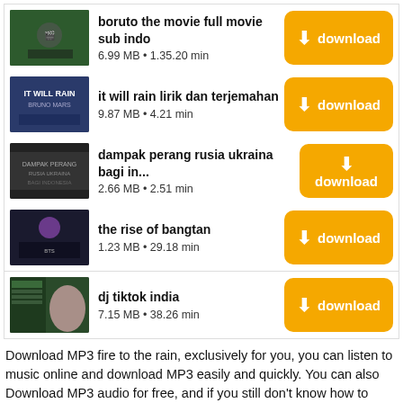boruto the movie full movie sub indo — 6.99 MB • 1.35.20 min
it will rain lirik dan terjemahan — 9.87 MB • 4.21 min
dampak perang rusia ukraina bagi in... — 2.66 MB • 2.51 min
the rise of bangtan — 1.23 MB • 29.18 min
dj tiktok india — 7.15 MB • 38.26 min
Download MP3 fire to the rain, exclusively for you, you can listen to music online and download MP3 easily and quickly. You can also Download MP3 audio for free, and if you still don't know how to download MP3 music you can see the instructions at the bottom of this MP3 page. Now you can download MP3 fire to the rain for free and in the highest quality 192 kbps, this list of online songs contains search results that were previously selected for you, here you will get the best songs and videos that are in fashion in this 2022, you can download MP3 music fire to the rain in various audio formats like MP3, WMA, iTunes, M4A, ACC, MP4